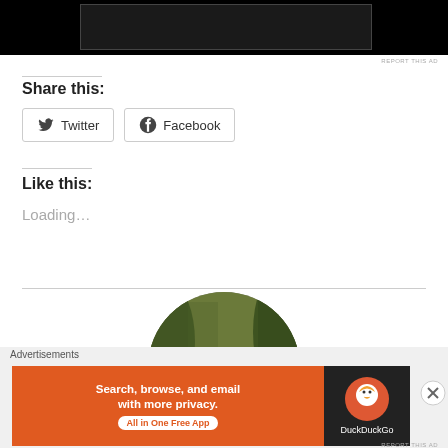[Figure (screenshot): Black video player area at top with dark inner rectangle]
REPORT THIS AD
Share this:
[Figure (screenshot): Twitter share button with bird icon]
[Figure (screenshot): Facebook share button with F icon]
Like this:
Loading...
[Figure (photo): Circular profile photo of a person wearing an orange hunting cap in a forest setting]
Advertisements
[Figure (screenshot): DuckDuckGo advertisement banner: Search, browse, and email with more privacy. All in One Free App]
REPORT THIS AD